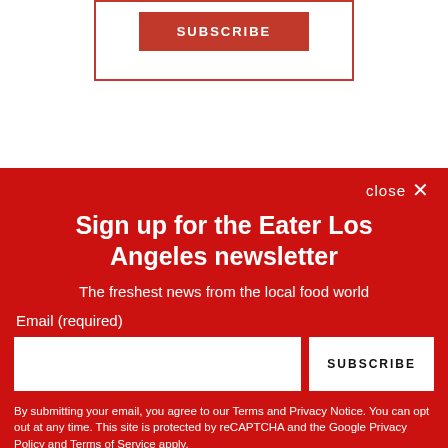[Figure (screenshot): Top section with white background showing a red-bordered subscribe box with a SUBSCRIBE button]
close ✕
Sign up for the Eater Los Angeles newsletter
The freshest news from the local food world
Email (required)
SUBSCRIBE
By submitting your email, you agree to our Terms and Privacy Notice. You can opt out at any time. This site is protected by reCAPTCHA and the Google Privacy Policy and Terms of Service apply.